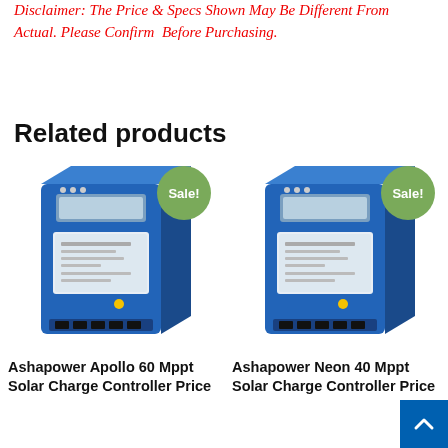Disclaimer: The Price & Specs Shown May Be Different From Actual. Please Confirm Before Purchasing.
Related products
[Figure (photo): Blue Ashapower Apollo 60 MPPT Solar Charge Controller device with LCD display, shown at an angle on a white background. A green 'Sale!' badge is displayed in the upper right.]
[Figure (photo): Blue Ashapower Neon 40 MPPT Solar Charge Controller device with LCD display, shown at an angle on a white background. A green 'Sale!' badge is displayed in the upper right.]
Ashapower Apollo 60 Mppt Solar Charge Controller Price
Ashapower Neon 40 Mppt Solar Charge Controller Price